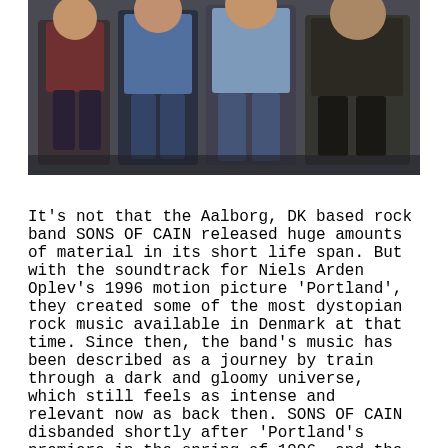[Figure (photo): A band photo showing four people standing together against a dark wall background. They are wearing casual clothing including flannel shirts and jeans.]
It's not that the Aalborg, DK based rock band SONS OF CAIN released huge amounts of material in its short life span. But with the soundtrack for Niels Arden Oplev's 1996 motion picture 'Portland', they created some of the most dystopian rock music available in Denmark at that time. Since then, the band's music has been described as a journey by train through a dark and gloomy universe, which still feels as intense and relevant now as back then. SONS OF CAIN disbanded shortly after 'Portland's premiere in the spring of 1996, and the attention surrounding the movie and the band's